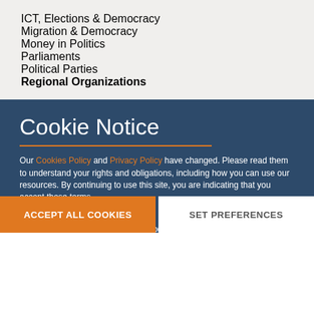ICT, Elections & Democracy
Migration & Democracy
Money in Politics
Parliaments
Political Parties
Regional Organizations
Cookie Notice
Our Cookies Policy and Privacy Policy have changed. Please read them to understand your rights and obligations, including how you can use our resources. By continuing to use this site, you are indicating that you accept these terms.
Cookies
We use cookies to enhance your experience on our site. Read about how we use cookies and how you can control them here. By continuing to use this site, without changing your settings, you are indicating that you accept this policy.
ACCEPT ALL COOKIES
SET PREFERENCES